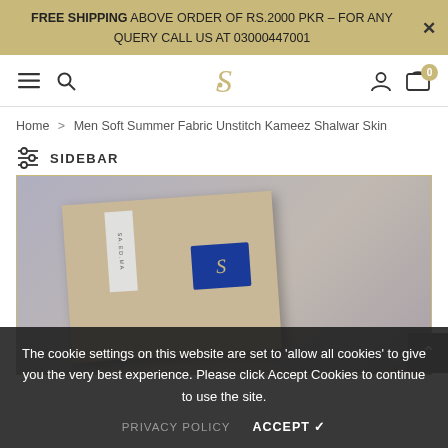FREE SHIPPING ABOVE ORDER OF RS.2000 PKR – FOR ANY QUERY CALL US AT 03000447001
[Figure (screenshot): Navigation bar with hamburger menu, search icon, brand logo (script S), user icon, and cart icon with badge showing 0]
Home > Men Soft Summer Fabric Unstitch Kameez Shalwar Skin
SIDEBAR
[Figure (photo): Product photo of folded skin/beige fabric (Kameez Shalwar) with a fabric label and blue brand tag, on a light purple background. Diagonal watermark text visible.]
The cookie settings on this website are set to 'allow all cookies' to give you the very best experience. Please click Accept Cookies to continue to use the site.
PRIVACY POLICY    ACCEPT ✔